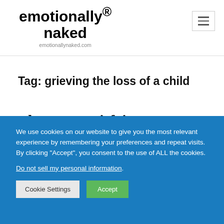emotionally® naked
emotionallynaked.com
Tag: grieving the loss of a child
The most satisfying state to...
We use cookies on our website to give you the most relevant experience by remembering your preferences and repeat visits. By clicking "Accept", you consent to the use of ALL the cookies.
Do not sell my personal information.